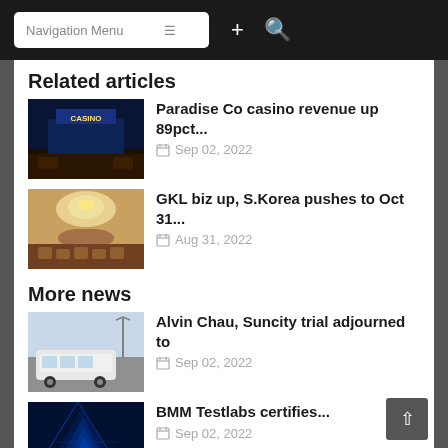Navigation Menu
Related articles
[Figure (photo): Casino building exterior at night with illuminated signage]
Paradise Co casino revenue up 89pct...
Sep 02, 2022
[Figure (photo): Luxury casino ballroom interior with chandelier and gaming tables]
GKL biz up, S.Korea pushes to Oct 31...
Aug 31, 2022
More news
[Figure (photo): White bus parked near a tower in Macau]
Alvin Chau, Suncity trial adjourned to
Sep 02, 2022
[Figure (photo): Technology image with blue digital pattern]
BMM Testlabs certifies...
Sep 02, 2022